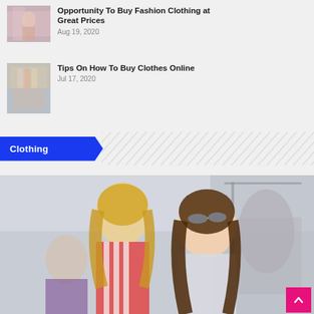[Figure (photo): Woman holding up dress in clothing store]
Opportunity To Buy Fashion Clothing at Great Prices
Aug 19, 2020
[Figure (photo): Person shopping online with laptop near clothing rack]
Tips On How To Buy Clothes Online
Jul 17, 2020
Clothing
[Figure (photo): Two women looking at something in a clothing store, one blonde in striped shirt, one brunette with sunglasses on head]